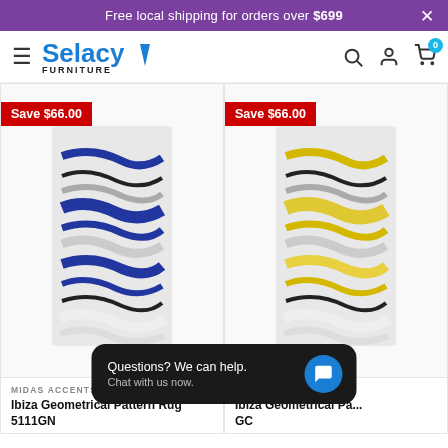Free local shipping for orders over $699
[Figure (logo): Selacy Furniture logo with blue text and lightning bolt]
[Figure (photo): Ibiza Geometrical Pattern Rug 5111GN - blue/grey/white wave pattern rug with Save $66.00 badge]
[Figure (photo): Ibiza Geometrical Pattern Rug GC - yellow/grey/black wave pattern rug with Save $66.00 badge]
MIDAS ACCENTS
Ibiza Geometrical Pattern Rug 5111GN
MIDAS ACCENTS
Ibiza Geometrical Pa... GC
[Figure (other): Chat widget: Questions? We can help. Chat with us now.]